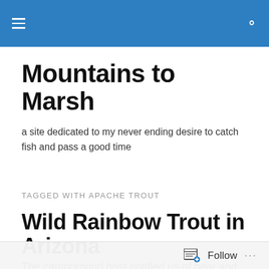Mountains to Marsh — site navigation header
Mountains to Marsh
a site dedicated to my never ending desire to catch fish and pass a good time
TAGGED WITH APACHE TROUT
Wild Rainbow Trout in Arizona
The campground host notified us of bear and mountain lion activity in the area across the river the year prior as we were setting up camp last night. Not to be deterred we actually got the best night's sleep we'd had all trip, which
Follow